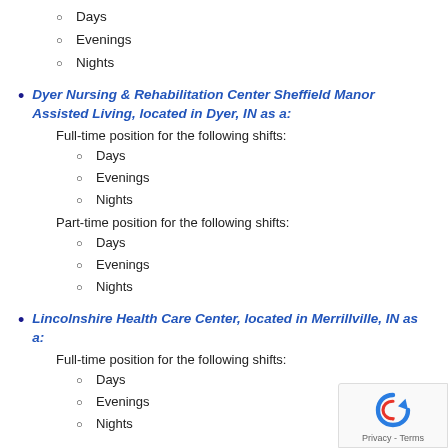Days
Evenings
Nights
Dyer Nursing & Rehabilitation Center Sheffield Manor Assisted Living, located in Dyer, IN as a:
Full-time position for the following shifts:
Days
Evenings
Nights
Part-time position for the following shifts:
Days
Evenings
Nights
Lincolnshire Health Care Center, located in Merrillville, IN as a:
Full-time position for the following shifts:
Days
Evenings
Nights